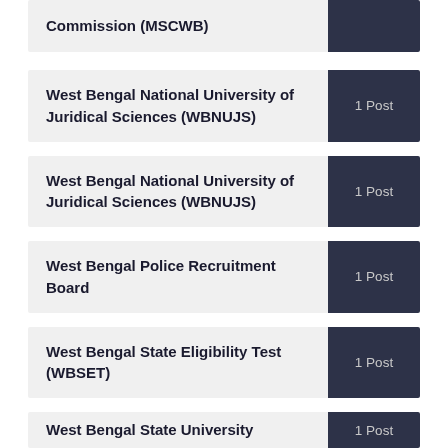| Organization | Posts |
| --- | --- |
| Commission (MSCWB) |  |
| West Bengal National University of Juridical Sciences (WBNUJS) | 1 Post |
| West Bengal National University of Juridical Sciences (WBNUJS) | 1 Post |
| West Bengal Police Recruitment Board | 1 Post |
| West Bengal State Eligibility Test (WBSET) | 1 Post |
| West Bengal State University | 1 Post |